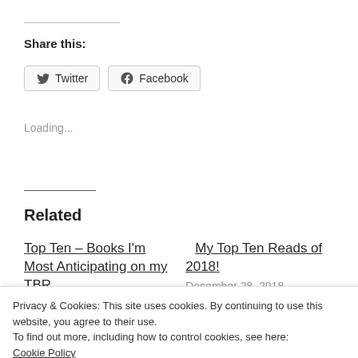Share this:
Twitter  Facebook
Loading...
Related
Top Ten – Books I'm Most Anticipating on my TBR
My Top Ten Reads of 2018! December 28, 2018
Privacy & Cookies: This site uses cookies. By continuing to use this website, you agree to their use.
To find out more, including how to control cookies, see here: Cookie Policy
Close and accept